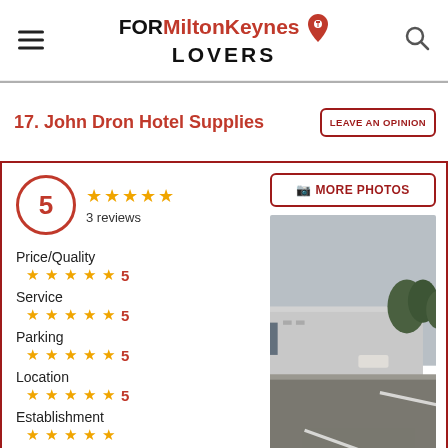FOR MiltonKeynes LOVERS
17. John Dron Hotel Supplies
LEAVE AN OPINION
5 — 3 reviews
Price/Quality — 5 stars — 5
Service — 5 stars — 5
Parking — 5 stars — 5
Location — 5 stars — 5
Establishment
[Figure (photo): Street view photo of an industrial building with a road in the foreground and trees in the background]